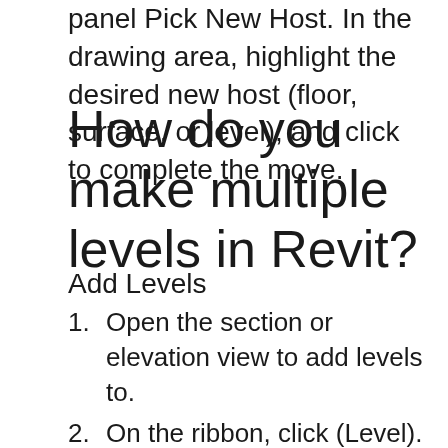panel Pick New Host. In the drawing area, highlight the desired new host (floor, surface, or level), and click to complete the move.
How do you make multiple levels in Revit?
Add Levels
Open the section or elevation view to add levels to.
On the ribbon, click (Level). Architecture tab Datum panel (Level) …
Place the cursor in the drawing area and click. …
Draw level lines by moving the cursor